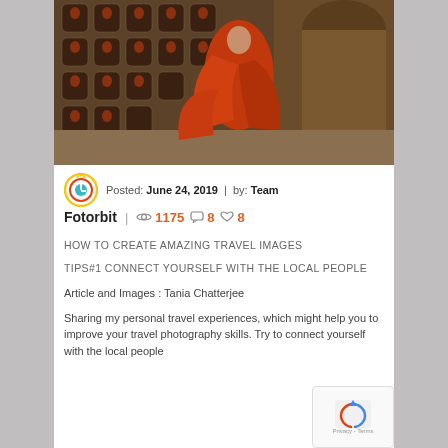[Figure (photo): A monk in red robes walking through an ancient temple corridor with Buddha statues in niches on the wall, dramatic lighting]
Posted: June 24, 2019  |  by: Team Fotorbit  |  1175  8  8
HOW TO CREATE AMAZING TRAVEL IMAGES
TIPS#1 CONNECT YOURSELF WITH THE LOCAL PEOPLE
Article and Images : Tania Chatterjee
Sharing my personal travel experiences, which might help you to improve your travel photography skills. Try to connect yourself with the local people